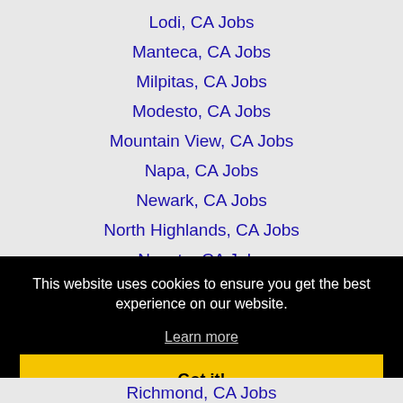Lodi, CA Jobs
Manteca, CA Jobs
Milpitas, CA Jobs
Modesto, CA Jobs
Mountain View, CA Jobs
Napa, CA Jobs
Newark, CA Jobs
North Highlands, CA Jobs
Novato, CA Jobs
This website uses cookies to ensure you get the best experience on our website.
Learn more
Got it!
Richmond, CA Jobs